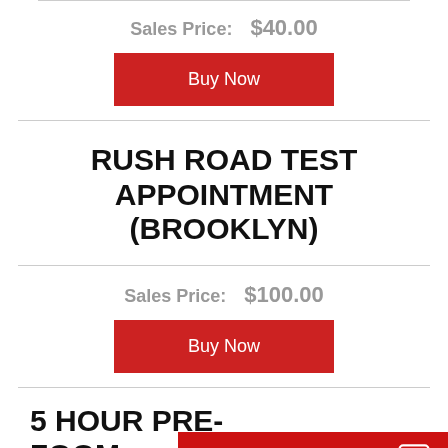Sales Price: $40.00
Buy Now
RUSH ROAD TEST APPOINTMENT (BROOKLYN)
Sales Price: $100.00
Buy Now
5 HOUR PRE- ZOOM
Leave a message